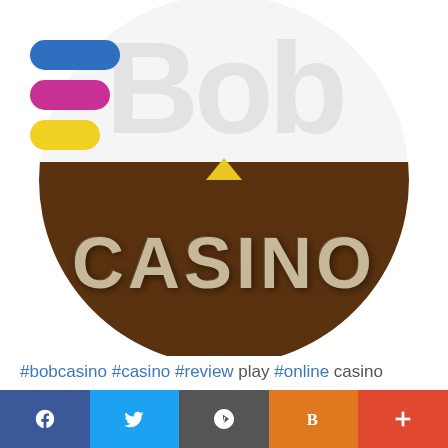[Figure (logo): Bob Casino logo: circular logo with white top half showing faint 'Bob' watermark and three colored pills (blue, pink, yellow) in top left corner, brown bottom half with 'CASINO' text in large bold letters, yellow notch at the dividing line]
#bobcasino #casino #review play #online casino
[Figure (infographic): Social media share bar with five buttons: Facebook (dark blue, f icon), Twitter (light blue, bird icon), WordPress (grey, WP icon), Blogger (orange, B icon), Plus/share (red-orange, + icon)]